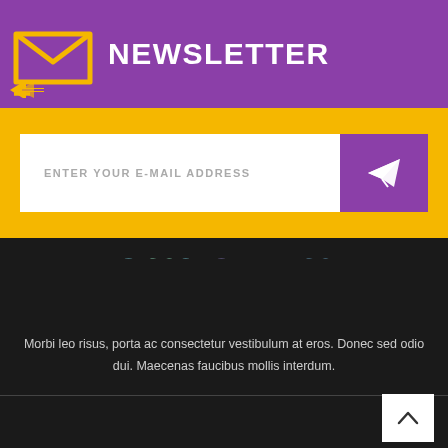[Figure (logo): Yellow envelope icon with purple background and white NEWSLETTER text]
NEWSLETTER
ENTER YOUR E-MAIL ADDRESS
[Figure (logo): Academia multicolor logo on dark background]
Morbi leo risus, porta ac consectetur vestibulum at eros. Donec sed odio dui. Maecenas faucibus mollis interdum.
GET IN TOUCH